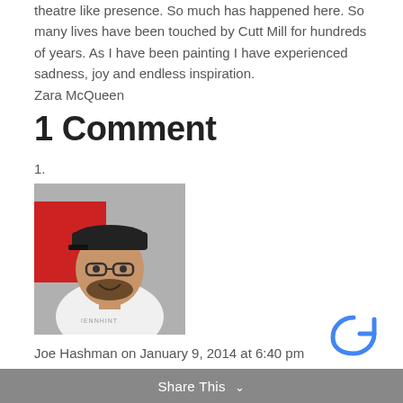theatre like presence. So much has happened here. So many lives have been touched by Cutt Mill for hundreds of years. As I have been painting I have experienced sadness, joy and endless inspiration.
Zara McQueen
1 Comment
1.
[Figure (photo): Profile photo of a man wearing a cap and glasses, smiling, standing in front of a red background]
Joe Hashman on January 9, 2014 at 6:40 pm
Good luck in all you do Zara, from your Number One fan xx
Share This